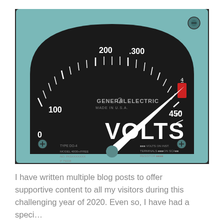[Figure (photo): Close-up photograph of a vintage General Electric voltmeter with a dark dial face. The meter shows scale markings at 0, 100, 200, 300, and 450 volts. The word VOLTS is printed in large white letters on the dial. The needle points toward approximately 420 volts. Text reads 'GENERAL ELECTRIC MADE IN U.S.A.' and 'TYPE DO-4'. The meter casing is aqua/teal colored metal.]
I have written multiple blog posts to offer supportive content to all my visitors during this challenging year of 2020. Even so, I have had a speci...